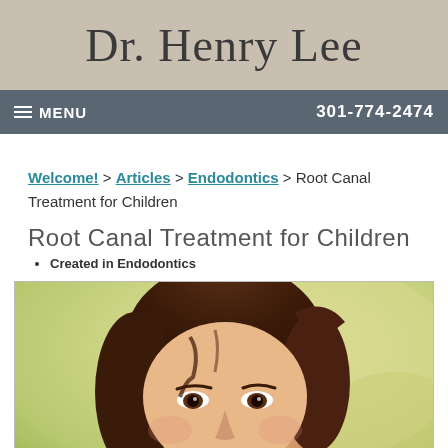Dr. Henry Lee
MENU  301-774-2474
Welcome! > Articles > Endodontics > Root Canal Treatment for Children
Root Canal Treatment for Children
Created in Endodontics
[Figure (photo): Smiling young woman with dark hair outdoors with blurred green/yellow background]